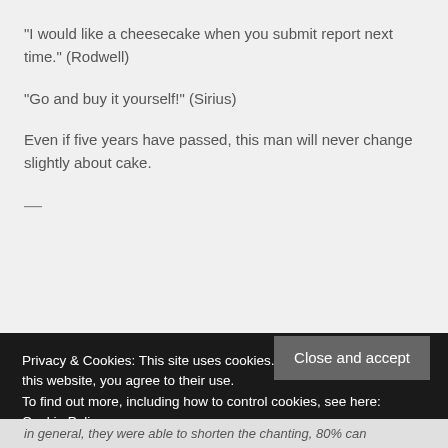“I would like a cheesecake when you submit report next time.” (Rodwell)
“Go and buy it yourself!” (Sirius)
Even if five years have passed, this man will never change slightly about cake.
—
Privacy & Cookies: This site uses cookies. By continuing to use this website, you agree to their use.
To find out more, including how to control cookies, see here: Cookie Policy
Close and accept
in general, they were able to shorten the chanting, 80% can